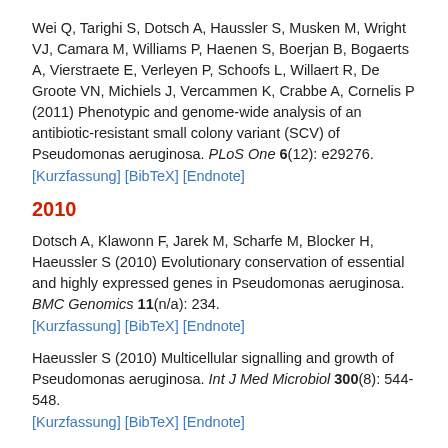Wei Q, Tarighi S, Dotsch A, Haussler S, Musken M, Wright VJ, Camara M, Williams P, Haenen S, Boerjan B, Bogaerts A, Vierstraete E, Verleyen P, Schoofs L, Willaert R, De Groote VN, Michiels J, Vercammen K, Crabbe A, Cornelis P (2011) Phenotypic and genome-wide analysis of an antibiotic-resistant small colony variant (SCV) of Pseudomonas aeruginosa. PLoS One 6(12): e29276. [Kurzfassung] [BibTeX] [Endnote]
2010
Dotsch A, Klawonn F, Jarek M, Scharfe M, Blocker H, Haeussler S (2010) Evolutionary conservation of essential and highly expressed genes in Pseudomonas aeruginosa. BMC Genomics 11(n/a): 234. [Kurzfassung] [BibTeX] [Endnote]
Haeussler S (2010) Multicellular signalling and growth of Pseudomonas aeruginosa. Int J Med Microbiol 300(8): 544-548. [Kurzfassung] [BibTeX] [Endnote]
Haeussler S, Parsek MR (2010) Biofilms 2009: new perspectives at the heart of surface-associated microbial communities. J Bacteriol